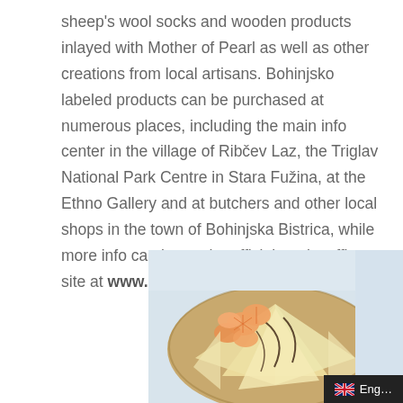sheep's wool socks and wooden products inlayed with Mother of Pearl as well as other creations from local artisans. Bohinjsko labeled products can be purchased at numerous places, including the main info center in the village of Ribčev Laz, the Triglav National Park Centre in Stara Fužina, at the Ethno Gallery and at butchers and other local shops in the town of Bohinjska Bistrica, while more info can be on the official tourist office site at www.bohinj.si. www.bohinj.si.
[Figure (photo): Photo of crepes/pancakes on a plate topped with mandarin orange segments and chocolate drizzle]